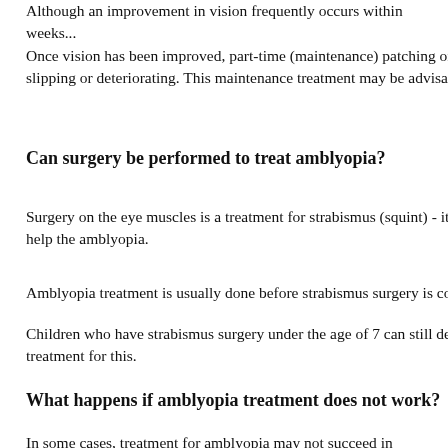Although an improvement in vision frequently occurs within weeks... Once vision has been improved, part-time (maintenance) patching or slipping or deteriorating. This maintenance treatment may be advisab
Can surgery be performed to treat amblyopia?
Surgery on the eye muscles is a treatment for strabismus (squint) - it help the amblyopia.
Amblyopia treatment is usually done before strabismus surgery is co
Children who have strabismus surgery under the age of 7 can still de treatment for this.
What happens if amblyopia treatment does not work?
In some cases, treatment for amblyopia may not succeed in substantia is best for both the child and the family. Children who have amblyop